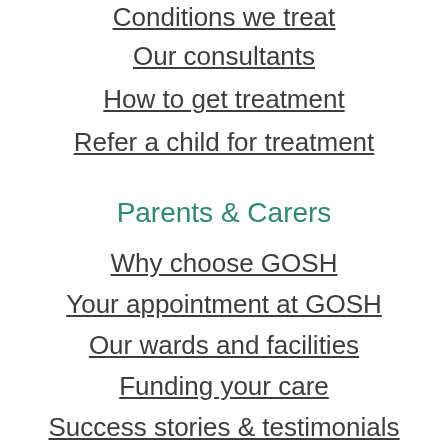Conditions we treat
Our consultants
How to get treatment
Refer a child for treatment
Parents & Carers
Why choose GOSH
Your appointment at GOSH
Our wards and facilities
Funding your care
Success stories & testimonials